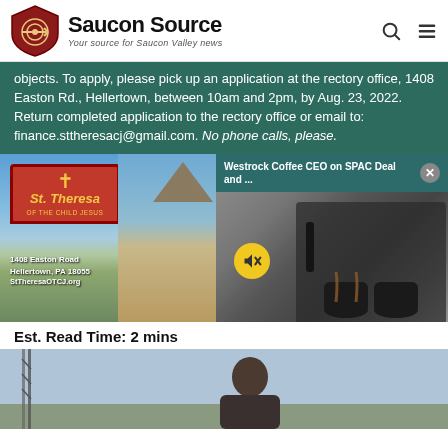[Figure (logo): Saucon Source logo with shield icon, brand name, and tagline 'Your source for Saucon Valley news']
objects. To apply, please pick up an application at the rectory office, 1408 Easton Rd., Hellertown, between 10am and 2pm, by Aug. 23, 2022. Return completed application to the rectory office or email to: finance.sttheresacj@gmail.com. No phone calls, please.
[Figure (photo): St. Theresa of the Child Jesus church advertisement with sign showing 1408 Easton Road, Hellertown, PA 18055, StTheresaOTCJ.org]
[Figure (screenshot): Video popup overlay titled 'Westrock Coffee CEO on SPAC Deal and ...' showing coffee machine pouring espresso with mute button]
Est. Read Time: 2 mins
[Figure (photo): Photo of a person outdoors with a communications tower visible in the background]